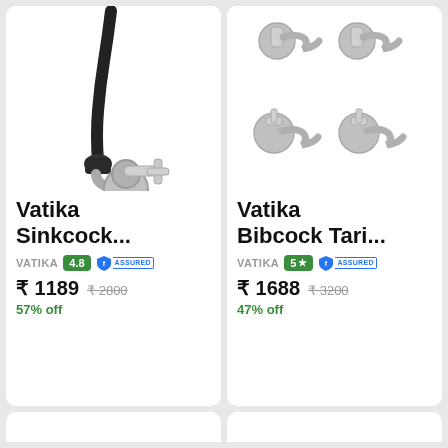[Figure (photo): Vatika Sinkcock faucet with flexible black hose and chrome body mounted on wall]
Vatika Sinkcock...
VATIKA 4.8 ASSURED ₹ 1189 ₹2800 57% off
[Figure (photo): Vatika Bibcock Tari set of 4 chrome faucets, two rows of two taps each]
Vatika Bibcock Tari...
VATIKA 5★ ASSURED ₹ 1688 ₹3200 47% off